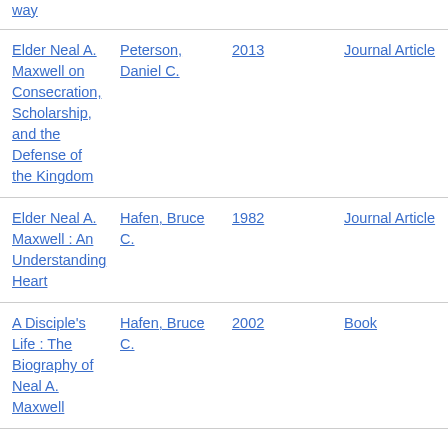| Title | Author | Year | Type |
| --- | --- | --- | --- |
| way |  |  |  |
| Elder Neal A. Maxwell on Consecration, Scholarship, and the Defense of the Kingdom | Peterson, Daniel C. | 2013 | Journal Article |
| Elder Neal A. Maxwell : An Understanding Heart | Hafen, Bruce C. | 1982 | Journal Article |
| A Disciple's Life : The Biography of Neal A. Maxwell | Hafen, Bruce C. | 2002 | Book |